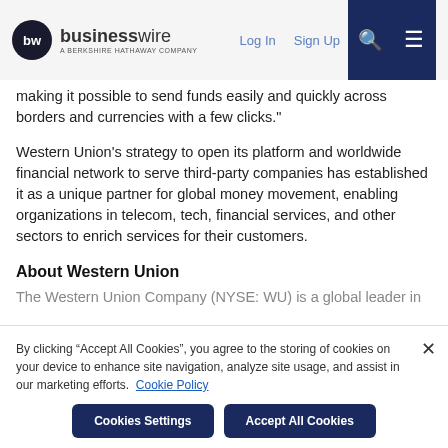businesswire — A Berkshire Hathaway Company | Log In | Sign Up
making it possible to send funds easily and quickly across borders and currencies with a few clicks."
Western Union’s strategy to open its platform and worldwide financial network to serve third-party companies has established it as a unique partner for global money movement, enabling organizations in telecom, tech, financial services, and other sectors to enrich services for their customers.
About Western Union
The Western Union Company (NYSE: WU) is a global leader in
By clicking “Accept All Cookies”, you agree to the storing of cookies on your device to enhance site navigation, analyze site usage, and assist in our marketing efforts. Cookie Policy
Cookies Settings | Accept All Cookies